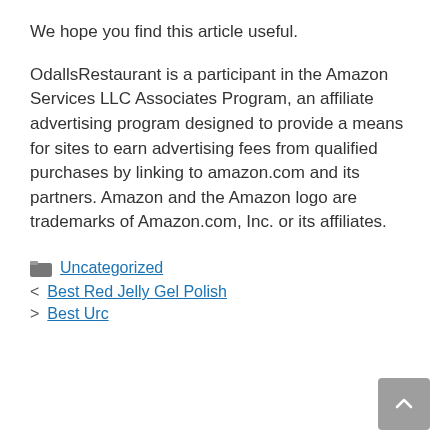We hope you find this article useful.
OdallsRestaurant is a participant in the Amazon Services LLC Associates Program, an affiliate advertising program designed to provide a means for sites to earn advertising fees from qualified purchases by linking to amazon.com and its partners. Amazon and the Amazon logo are trademarks of Amazon.com, Inc. or its affiliates.
Uncategorized
< Best Red Jelly Gel Polish
> Best Urc